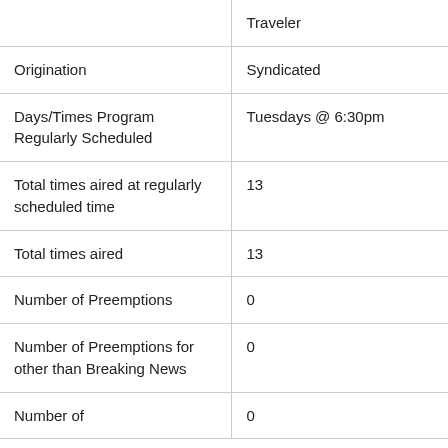| [partial row] | Traveler |
| Origination | Syndicated |
| Days/Times Program Regularly Scheduled | Tuesdays @ 6:30pm |
| Total times aired at regularly scheduled time | 13 |
| Total times aired | 13 |
| Number of Preemptions | 0 |
| Number of Preemptions for other than Breaking News | 0 |
| Number of | 0 |